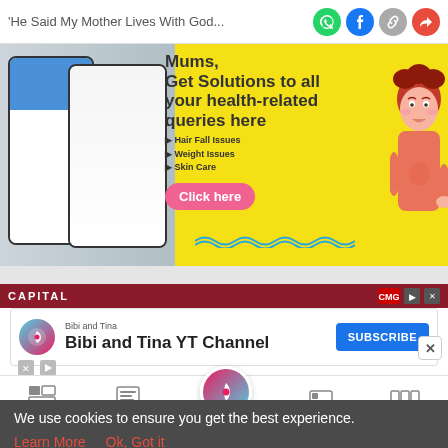'He Said My Mother Lives With God...'
[Figure (infographic): Advertisement banner with yellow background. Shows app screenshots on the left and text 'Mums, Get Solutions to all your health-related queries here' with bullet points for Hair Fall Issues, Weight Issues, Skin Care and a pink 'Click here' button. Cartoon character of woman on right.]
[Figure (screenshot): Dark red CAPITAL banner strip with logo and close button]
[Figure (infographic): Bibi and Tina YT Channel subscription box with blue SUBSCRIBE button]
[Figure (infographic): Bottom navigation bar with Tools, Articles, center logo, Feed, Poll icons]
We use cookies to ensure you get the best experience.
Learn More   Ok, Got it